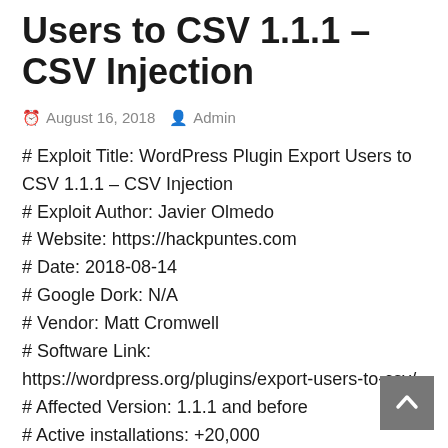Users to CSV 1.1.1 – CSV Injection
August 16, 2018  Admin
# Exploit Title: WordPress Plugin Export Users to CSV 1.1.1 – CSV Injection
# Exploit Author: Javier Olmedo
# Website: https://hackpuntes.com
# Date: 2018-08-14
# Google Dork: N/A
# Vendor: Matt Cromwell
# Software Link: https://wordpress.org/plugins/export-users-to-csv/
# Affected Version: 1.1.1 and before
# Active installations: +20,000
# Patched Version: unpatched
# Category: Web Application
# Platform: PHP